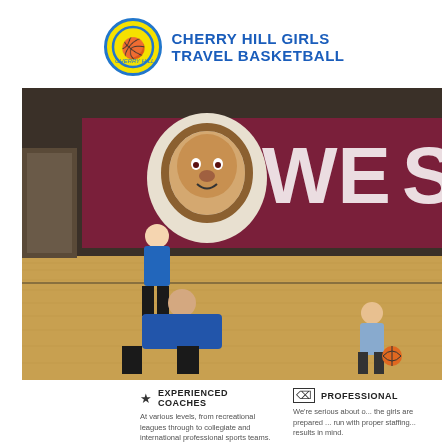[Figure (logo): Cherry Hill Girls Travel Basketball logo — yellow circle with blue border containing a basketball player silhouette, next to bold blue text reading CHERRY HILL GIRLS TRAVEL BASKETBALL]
[Figure (photo): Basketball practice in a gymnasium with a maroon and white lion mascot mural reading WES (partial). A coach in blue crouches on the court, a woman in blue stands watching, and a player in striped jersey dribbles a basketball.]
EXPERIENCED COACHES
At various levels, from recreational leagues through to collegiate and international professional sports teams.
PROFESSIONAL
We're serious about o... the girls are prepared ... run with proper staffing... results in mind.